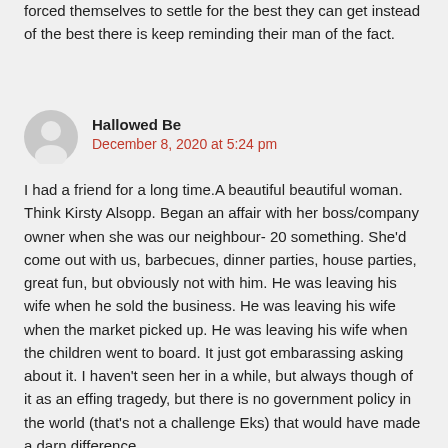forced themselves to settle for the best they can get instead of the best there is keep reminding their man of the fact.
[Figure (illustration): Generic grey avatar/profile silhouette icon]
Hallowed Be
December 8, 2020 at 5:24 pm
I had a friend for a long time.A beautiful beautiful woman. Think Kirsty Alsopp. Began an affair with her boss/company owner when she was our neighbour- 20 something. She'd come out with us, barbecues, dinner parties, house parties, great fun, but obviously not with him. He was leaving his wife when he sold the business. He was leaving his wife when the market picked up. He was leaving his wife when the children went to board. It just got embarassing asking about it. I haven't seen her in a while, but always though of it as an effing tragedy, but there is no government policy in the world (that's not a challenge Eks) that would have made a darn difference.